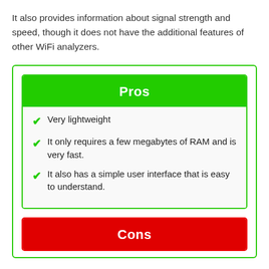It also provides information about signal strength and speed, though it does not have the additional features of other WiFi analyzers.
Pros
Very lightweight
It only requires a few megabytes of RAM and is very fast.
It also has a simple user interface that is easy to understand.
Cons